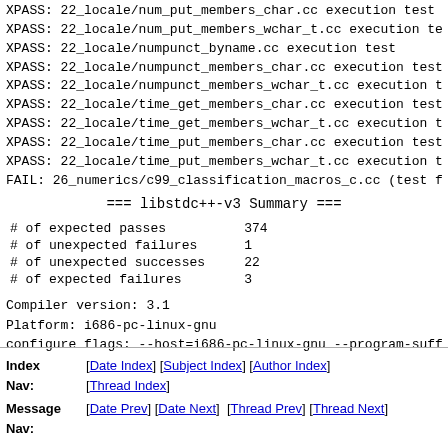XPASS: 22_locale/num_put_members_char.cc execution test
XPASS: 22_locale/num_put_members_wchar_t.cc execution te
XPASS: 22_locale/numpunct_byname.cc execution test
XPASS: 22_locale/numpunct_members_char.cc execution test
XPASS: 22_locale/numpunct_members_wchar_t.cc execution te
XPASS: 22_locale/time_get_members_char.cc execution test
XPASS: 22_locale/time_get_members_wchar_t.cc execution te
XPASS: 22_locale/time_put_members_char.cc execution test
XPASS: 22_locale/time_put_members_wchar_t.cc execution te
FAIL: 26_numerics/c99_classification_macros_c.cc (test fo
=== libstdc++-v3 Summary ===
| metric | value |
| --- | --- |
| # of expected passes | 374 |
| # of unexpected failures | 1 |
| # of unexpected successes | 22 |
| # of expected failures | 3 |
Compiler version: 3.1
Platform: i686-pc-linux-gnu
configure flags: --host=i686-pc-linux-gnu --program-suff
Index Nav: [Date Index] [Subject Index] [Author Index] [Thread Index]
Message Nav: [Date Prev] [Date Next] [Thread Prev] [Thread Next]